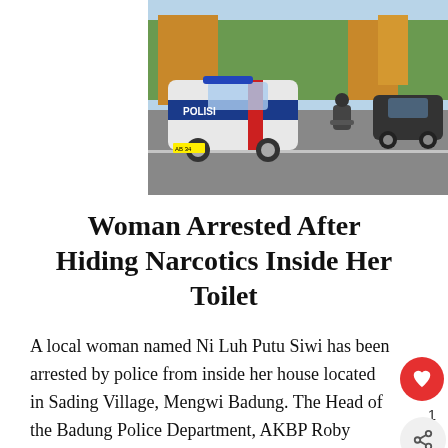[Figure (photo): Indonesian police car (white SUV with blue and red markings reading POLISI) driving on a road in Bali, with traditional Balinese temple gates in the background, a motorcyclist and a dark SUV also visible.]
Woman Arrested After Hiding Narcotics Inside Her Toilet
A local woman named Ni Luh Putu Siwi has been arrested by police from inside her house located in Sading Village, Mengwi Badung. The Head of the Badung Police Department, AKBP Roby Septiad confirmed that the suspect was arrested when she